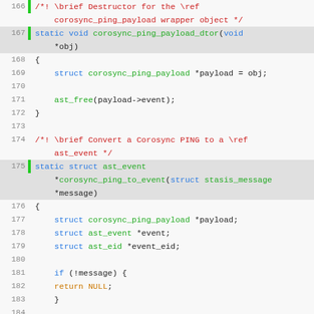[Figure (screenshot): Source code listing in C showing lines 166-193, with syntax highlighting. Functions include corosync_ping_payload_dtor and corosync_ping_to_event. Line numbers on left, green gutter indicators, color-coded syntax.]